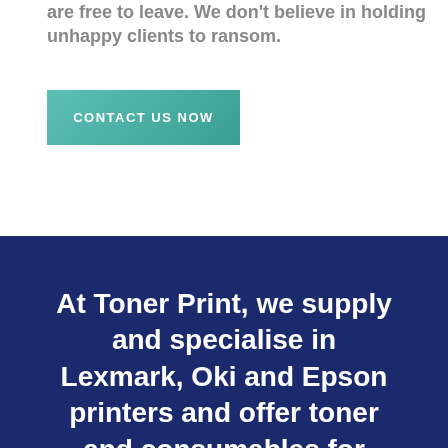are free to leave. We don't believe in holding unhappy clients to ransom.
CONTACT US NOW
At Toner Print, we supply and specialise in Lexmark, Oki and Epson printers and offer toner and consumables for